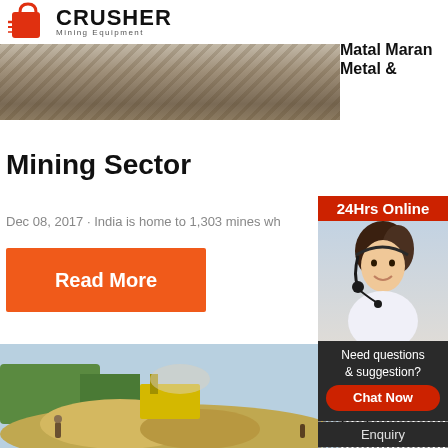[Figure (logo): Crusher Mining Equipment logo with red shopping bag icon and bold CRUSHER text]
[Figure (photo): Mining site with crushed rock/gravel, partially visible at top]
Matal Maran Metal & Mining Sector
Dec 08, 2017 · India is home to 1,303 mines wh...
Read More
[Figure (photo): Mining crusher equipment with yellow machine and dust/rubble]
Development of India Mining Industry Follow...
[Figure (infographic): 24Hrs Online support sidebar with contact photo, chat button, enquiry, and email limingjlmofen@sina.com]